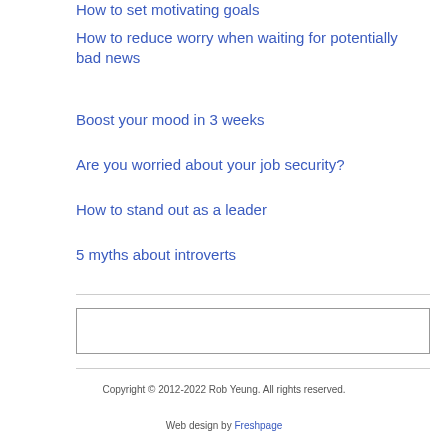How to set motivating goals
How to reduce worry when waiting for potentially bad news
Boost your mood in 3 weeks
Are you worried about your job security?
How to stand out as a leader
5 myths about introverts
[Figure (other): Search input box]
Copyright © 2012-2022 Rob Yeung. All rights reserved.
Web design by Freshpage